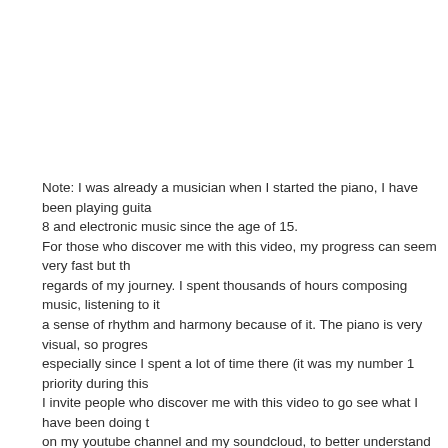Note: I was already a musician when I started the piano, I have been playing guitar since the age of 8 and electronic music since the age of 15.
For those who discover me with this video, my progress can seem very fast but this is only one regards of my journey. I spent thousands of hours composing music, listening to it, and acquired a sense of rhythm and harmony because of it. The piano is very visual, so progress can be fast especially since I spent a lot of time there (it was my number 1 priority during this year).
I invite people who discover me with this video to go see what I have been doing these past years on my youtube channel and my soundcloud, to better understand my journey.
Good viewing 🙂
-Timestamps-
1. Liquid – Sweet Harmony 0:21
2. Derrick May – Strings of life 0:27
3. Stevie Wonder – Isn't she's lovely 0:31
4. Gypsy Woman – She's Homeless 0:46
5. Daft Punk – Within 1:05